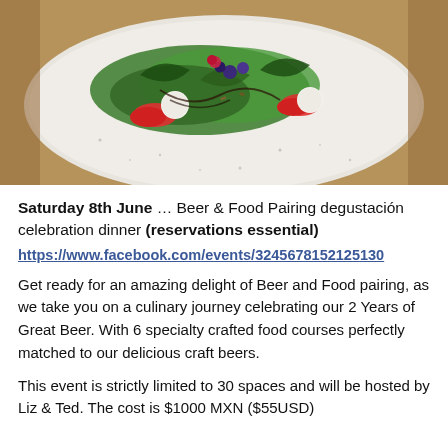[Figure (photo): A white speckled plate with a salad featuring fresh greens, strawberries, blueberries, mozzarella balls, and balsamic drizzle on a wooden surface.]
Saturday 8th June … Beer & Food Pairing degustación celebration dinner (reservations essential)
https://www.facebook.com/events/3245678152125130
Get ready for an amazing delight of Beer and Food pairing, as we take you on a culinary journey celebrating our 2 Years of Great Beer. With 6 specialty crafted food courses perfectly matched to our delicious craft beers.
This event is strictly limited to 30 spaces and will be hosted by Liz & Ted. The cost is $1000 MXN ($55USD)